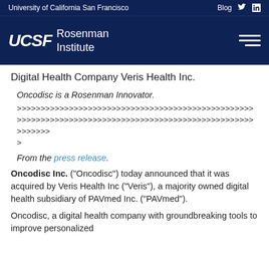University of California San Francisco
UCSF Rosenman Institute
Digital Health Company Veris Health Inc.
Oncodisc is a Rosenman Innovator.
>>>>>>>>>>>>>>>>>>>>>>>>>>>>>>>>>>>>>>>>>>>>>>>>>>>>>>>>>>>>>>>>>>>>>>>>>>>>>>>>>>>>>>>>>>>>>>>>>>>>>>>>>>>>>>>>>>>>>>>>>>>>>>>>>>>>>>>>>>>>>>>>>>>>>>>>>>> >
From the press release.
Oncodisc Inc. (“Oncodisc”) today announced that it was acquired by Veris Health Inc (“Veris”), a majority owned digital health subsidiary of PAVmed Inc. (“PAVmed”).
Oncodisc, a digital health company with groundbreaking tools to improve personalized